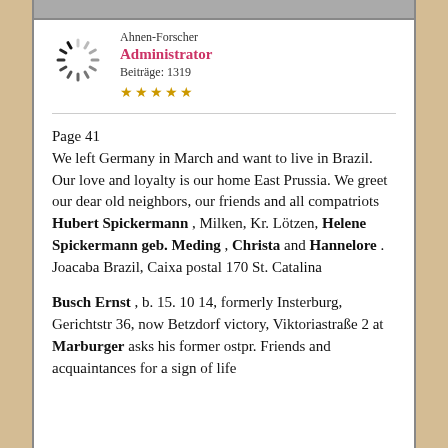Ahnen-Forscher | Administrator | Beiträge: 1319 | ★★★★★
Page 41
We left Germany in March and want to live in Brazil. Our love and loyalty is our home East Prussia. We greet our dear old neighbors, our friends and all compatriots Hubert Spickermann , Milken, Kr. Lötzen, Helene Spickermann geb. Meding , Christa and Hannelore . Joacaba Brazil, Caixa postal 170 St. Catalina
Busch Ernst , b. 15. 10 14, formerly Insterburg, Gerichtstr 36, now Betzdorf victory, Viktoriastraße 2 at Marburger asks his former ostpr. Friends and acquaintances for a sign of life